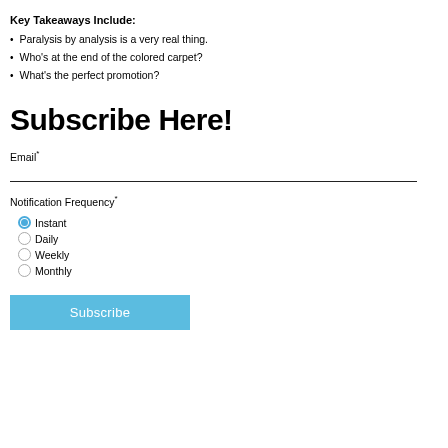Key Takeaways Include:
Paralysis by analysis is a very real thing.
Who's at the end of the colored carpet?
What's the perfect promotion?
Subscribe Here!
Email*
Notification Frequency*
Instant
Daily
Weekly
Monthly
Subscribe